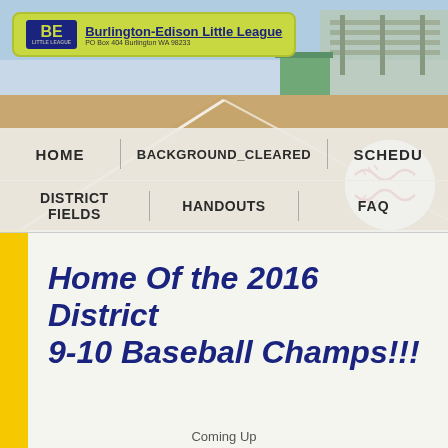[Figure (screenshot): Burlington-Edison Little League website header with baseball field photo background]
Burlington-Edison Little League
PO Box 404 Burlington WA 98233
HOME
BACKGROUND_CLEARED
SCHEDU
DISTRICT FIELDS
HANDOUTS
FAQ
Home Of the 2016 District 9-10 Baseball Champs!!!
Coming Up